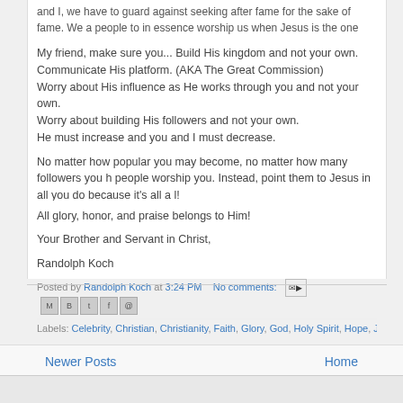and I, we have to guard against seeking after fame for the sake of fame. We all people to in essence worship us when Jesus is the one Who we all should be w
My friend, make sure you... Build His kingdom and not your own.
Communicate His platform. (AKA The Great Commission)
Worry about His influence as He works through you and not your own.
Worry about building His followers and not your own.
He must increase and you and I must decrease.
No matter how popular you may become, no matter how many followers you ha people worship you. Instead, point them to Jesus in all you do because it's all a l!
All glory, honor, and praise belongs to Him!
Your Brother and Servant in Christ,
Randolph Koch
Posted by Randolph Koch at 3:24 PM   No comments:
Labels: Celebrity, Christian, Christianity, Faith, Glory, God, Holy Spirit, Hope, Jesus, Li
Newer Posts
Home